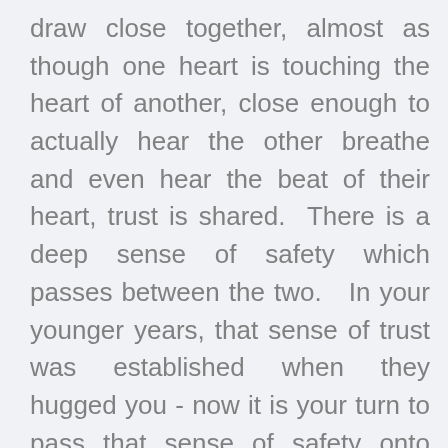draw close together, almost as though one heart is touching the heart of another, close enough to actually hear the other breathe and even hear the beat of their heart, trust is shared. There is a deep sense of safety which passes between the two. In your younger years, that sense of trust was established when they hugged you - now it is your turn to pass that sense of safety onto them!